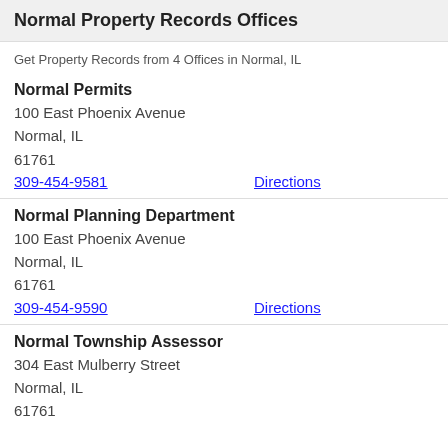Normal Property Records Offices
Get Property Records from 4 Offices in Normal, IL
Normal Permits
100 East Phoenix Avenue
Normal, IL
61761
309-454-9581
Directions
Normal Planning Department
100 East Phoenix Avenue
Normal, IL
61761
309-454-9590
Directions
Normal Township Assessor
304 East Mulberry Street
Normal, IL
61761